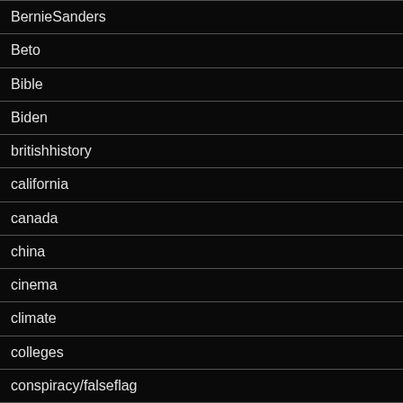BernieSanders
Beto
Bible
Biden
britishhistory
california
canada
china
cinema
climate
colleges
conspiracy/falseflag